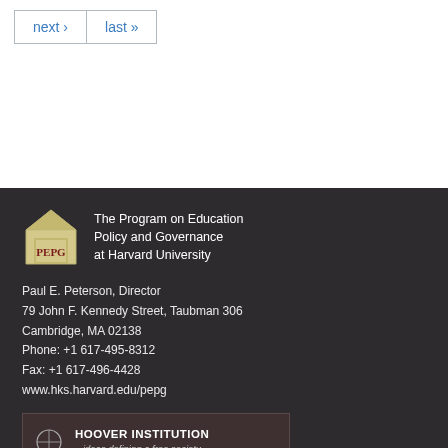next › last »
[Figure (logo): PEPG logo — house shape with 'PEPG' text in dark red, next to 'The Program on Education Policy and Governance at Harvard University']
Paul E. Peterson, Director
79 John F. Kennedy Street, Taubman 306
Cambridge, MA 02138
Phone: +1 617-495-8312
Fax: +1 617-496-4428
www.hks.harvard.edu/pepg
[Figure (logo): Hoover Institution banner with building logo, text: HOOVER INSTITUTION ...ideas defining a free society STANFORD UNVERSITY]
Paul E. Peterson, Senior Fellow